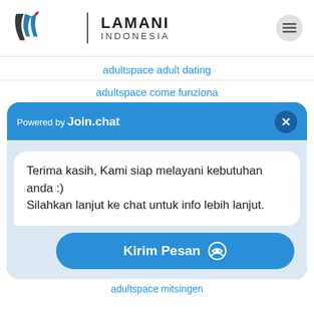[Figure (logo): Lamani Indonesia logo with stylized LW mark and text LAMANI INDONESIA, hamburger menu icon top right]
adultspace adult dating
adultspace come funziona
[Figure (screenshot): Join.chat widget popup with header 'Powered by Join.chat', close button, chat bubble message: 'Terima kasih, Kami siap melayani kebutuhan anda :) Silahkan lanjut ke chat untuk info lebih lanjut.', and Kirim Pesan button]
adultspace mitsingen